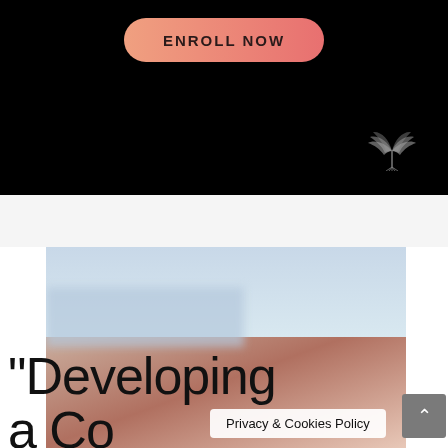[Figure (screenshot): Black background section with a salmon/coral gradient 'ENROLL NOW' button centered at top, and a gray winged logo icon at bottom right]
[Figure (photo): Partial photo of a person (blonde hair visible) against a blurred outdoor background with sky, overlaid with large light-weight text reading '"Developing a Co...']
"Developing
a Co
Privacy & Cookies Policy